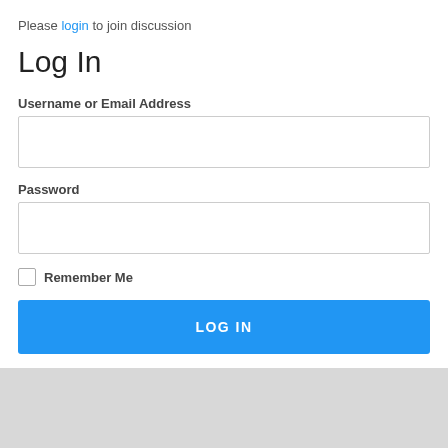Please login to join discussion
Log In
Username or Email Address
Password
Remember Me
LOG IN